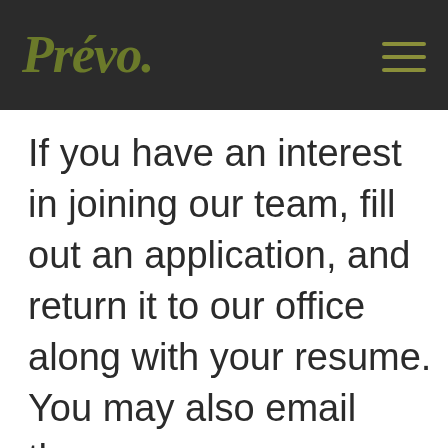Prévo
If you have an interest in joining our team, fill out an application, and return it to our office along with your resume. You may also email them